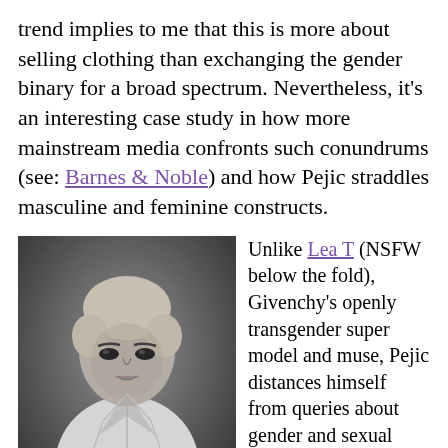trend implies to me that this is more about selling clothing than exchanging the gender binary for a broad spectrum. Nevertheless, it's an interesting case study in how more mainstream media confronts such conundrums (see: Barnes & Noble) and how Pejic straddles masculine and feminine constructs.
[Figure (photo): Black and white fashion photograph of Andrej Pejic, a blonde model with hair styled up, wearing an open white button-down shirt, looking intensely at the camera.]
Unlike Lea T (NSFW below the fold), Givenchy's openly transgender super model and muse, Pejic distances himself from queries about gender and sexual identity. When speaking to New York, he referred to his androgynous